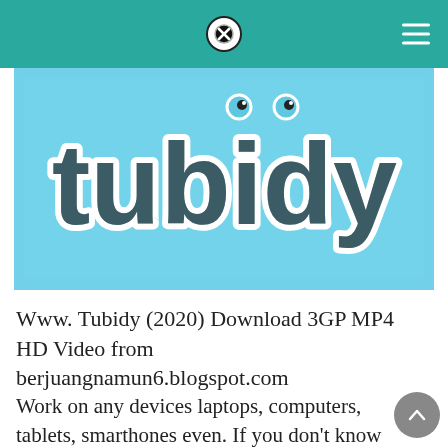Tubidy website header with close button and hamburger menu
[Figure (logo): Tubidy logo on light blue background with stylized bubbly letters 'tubidy' in dark grey/black with white outline and light blue highlights]
Www. Tubidy (2020) Download 3GP MP4 HD Video from berjuangnamun6.blogspot.com
Work on any devices laptops, computers, tablets, smarthones even. If you don't know how to download them, watch this video. Amapiano 20 album has 29 songs